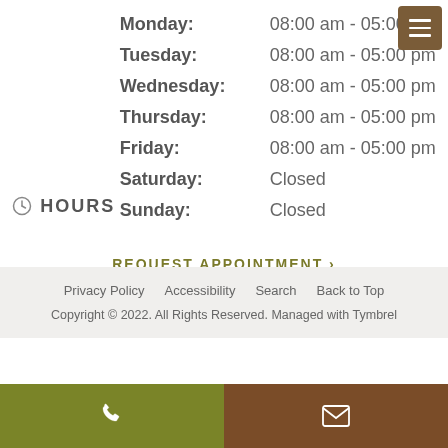HOURS
Monday: 08:00 am - 05:00 pm
Tuesday: 08:00 am - 05:00 pm
Wednesday: 08:00 am - 05:00 pm
Thursday: 08:00 am - 05:00 pm
Friday: 08:00 am - 05:00 pm
Saturday: Closed
Sunday: Closed
REQUEST APPOINTMENT ›
Privacy Policy   Accessibility   Search   Back to Top
Copyright © 2022. All Rights Reserved. Managed with Tymbrel